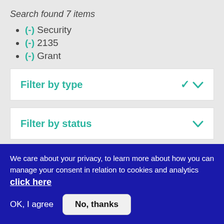Search found 7 items
(-) Security
(-) 2135
(-) Grant
Filter by type
Filter by status
We care about your privacy, to learn more about how you can manage your consent in relation to cookies and analytics click here
OK, I agree
No, thanks